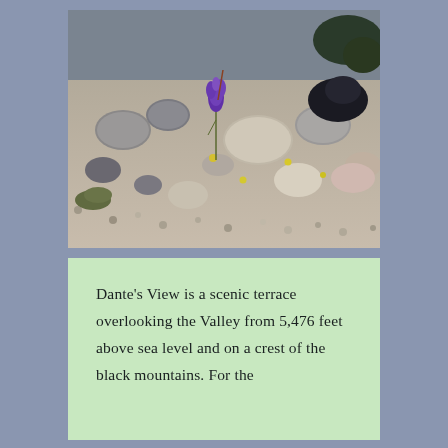[Figure (photo): A rocky, gravelly desert landscape with small wildflowers. A purple flowering plant and small yellow flowers are visible among the grey and tan rocks and stones. Some greenery visible in upper right.]
Dante's View is a scenic terrace overlooking the Valley from 5,476 feet above sea level and on a crest of the black mountains. For the